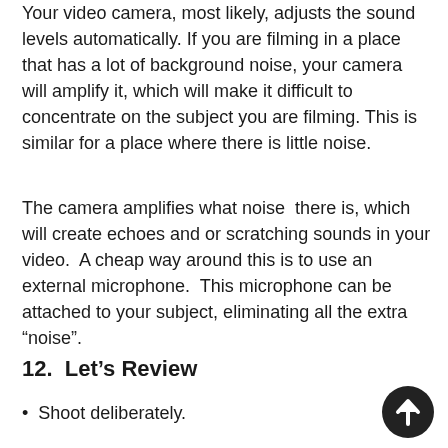Your video camera, most likely, adjusts the sound levels automatically. If you are filming in a place that has a lot of background noise, your camera will amplify it, which will make it difficult to concentrate on the subject you are filming.  This is similar for a place where there is little noise.
The camera amplifies what noise  there is, which will create echoes and or scratching sounds in your video.  A cheap way around this is to use an external microphone.  This microphone can be attached to your subject, eliminating all the extra “noise”.
12.  Let’s Review
Shoot deliberately.